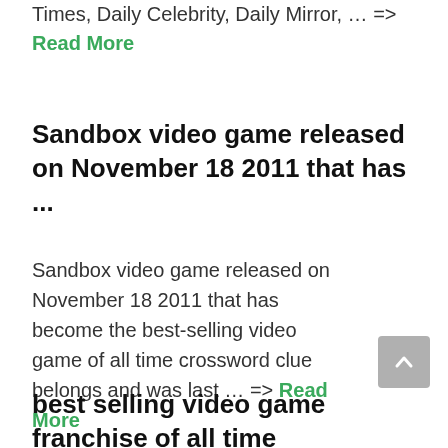Times, Daily Celebrity, Daily Mirror, … => Read More
Sandbox video game released on November 18 2011 that has ...
Sandbox video game released on November 18 2011 that has become the best-selling video game of all time crossword clue belongs and was last … => Read More
best selling video game franchise of all time